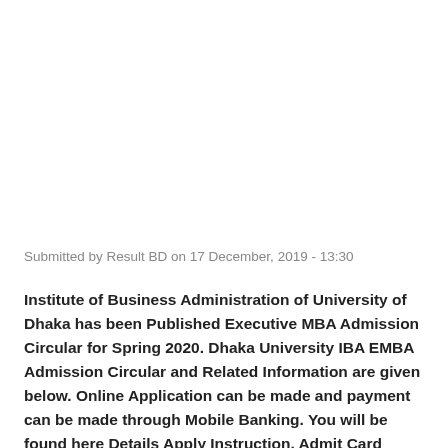Submitted by Result BD on 17 December, 2019 - 13:30
Institute of Business Administration of University of Dhaka has been Published Executive MBA Admission Circular for Spring 2020. Dhaka University IBA EMBA Admission Circular and Related Information are given below. Online Application can be made and payment can be made through Mobile Banking. You will be found here Details Apply Instruction, Admit Card Download Instruction, Admission Result information and others for DU IBA EMBA Admission (Spring 2020)